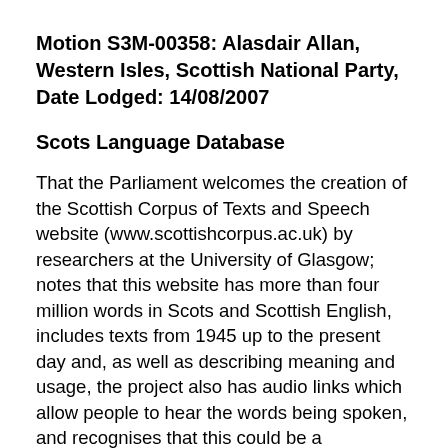Motion S3M-00358: Alasdair Allan, Western Isles, Scottish National Party, Date Lodged: 14/08/2007
Scots Language Database
That the Parliament welcomes the creation of the Scottish Corpus of Texts and Speech website (www.scottishcorpus.ac.uk) by researchers at the University of Glasgow; notes that this website has more than four million words in Scots and Scottish English, includes texts from 1945 up to the present day and, as well as describing meaning and usage, the project also has audio links which allow people to hear the words being spoken, and recognises that this could be a